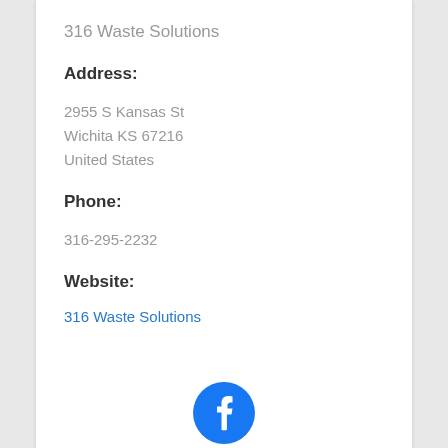316 Waste Solutions
Address:
2955 S Kansas St
Wichita KS 67216
United States
Phone:
316-295-2232
Website:
316 Waste Solutions
[Figure (logo): Facebook logo icon — blue circle with white 'f' letter]